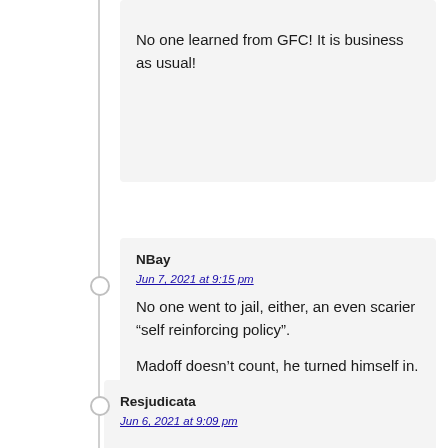No one learned from GFC! It is business as usual!
NBay
Jun 7, 2021 at 9:15 pm

No one went to jail, either, an even scarier “self reinforcing policy”.

Madoff doesn’t count, he turned himself in. Hard for anyone to ignore that behavior.
Resjudicata
Jun 6, 2021 at 9:09 pm